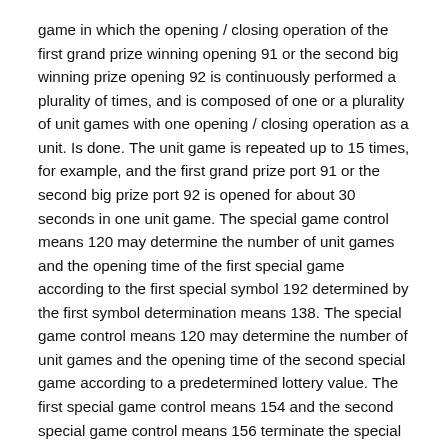game in which the opening / closing operation of the first grand prize winning opening 91 or the second big winning prize opening 92 is continuously performed a plurality of times, and is composed of one or a plurality of unit games with one opening / closing operation as a unit. Is done. The unit game is repeated up to 15 times, for example, and the first grand prize port 91 or the second big prize port 92 is opened for about 30 seconds in one unit game. The special game control means 120 may determine the number of unit games and the opening time of the first special game according to the first special symbol 192 determined by the first symbol determination means 138. The special game control means 120 may determine the number of unit games and the opening time of the second special game according to a predetermined lottery value. The first special game control means 154 and the second special game control means 156 terminate the special game when the number of continuations of the unit game is exhausted.
The specific game execution means 122 controls the normal game in the state of probability change and short time. The specific game execution unit 122 determines